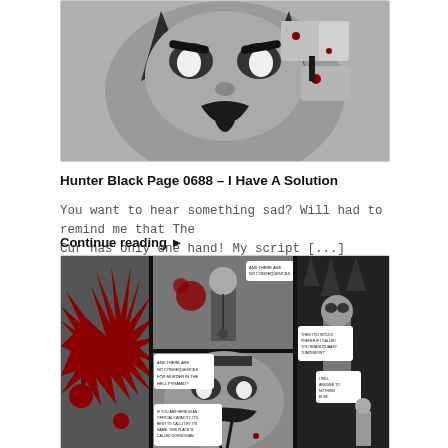[Figure (illustration): Top comic panel showing a villain character with horns and a mustache in grayscale and red, with explosive action elements.]
Hunter Black Page 0688 – I Have A Solution
You want to hear something sad? Will had to remind me that The Cur has only one hand! My script [...]
Continue reading ▶
[Figure (illustration): Bottom comic panel sequence showing characters in a dark dungeon-like setting with speech bubbles: 'YOU'RE THERE.', 'AND THERE ARE NO CONSEQUENCES FOR MURDER IN THE HELL PYRAMID?', 'IF YOU ARE HERE IN AN OFFICIAL CAPACITY, IT'S BEST TO CALL IT BY ITS NAME. THIS PLACE IS CALLED GORGOGIAN.', 'THEN YOU WOULD PREFER IF I CALLED YOU BRANDQUAASY TUMORROW?', 'I WILL ANSWER TO NOTHING ELSE.']